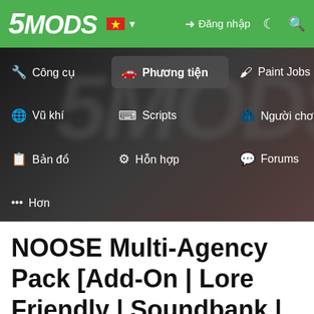5MODS | Đăng nhập
[Figure (screenshot): Navigation menu of 5mods website showing: Công cụ, Vũ khí, Bản đồ, Hơn (left column); Phương tiện (highlighted), Scripts, Hỗn hợp (middle column); Paint Jobs, Người chơi, Forums (right column)]
NOOSE Multi-Agency Pack [Add-On | Lore Friendly | Soundbank | FiveM-Ready] (Based on DHS) (Version 2.0